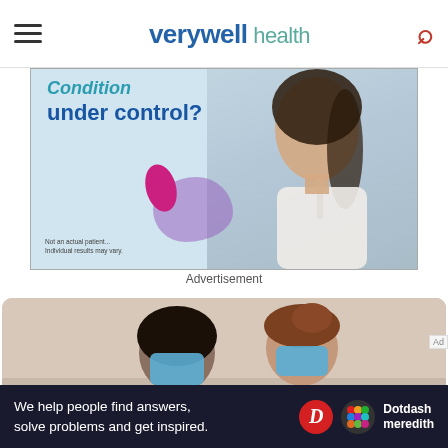verywell health
[Figure (photo): Advertisement image showing a smiling woman with a magenta oval and lavender blob shape on her chest area, with text 'under control?' on a light blue background. Small disclaimer text: 'Not an actual patient. Individual results may vary.']
Advertisement
[Figure (photo): Photo of two people wearing blue surgical masks facing each other — a patient with dark hair and an updo-haired healthcare provider in a white coat — in a medical setting.]
[Figure (logo): Dotdash Meredith bottom advertisement bar with text: 'We help people find answers, solve problems and get inspired.' with D logo and colorful dot-grid logo]